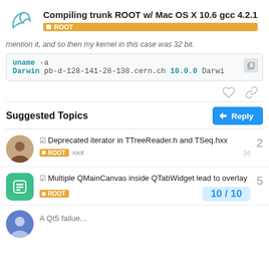Compiling trunk ROOT w/ Mac OS X 10.6 gcc 4.2.1 — ROOT
mention it, and so then my kernel in this case was 32 bit.
uname -a
Darwin pb-d-128-141-28-138.cern.ch 10.0.0 Darwi
Suggested Topics
Deprecated iterator in TTreeReader.h and TSeq.hxx — ROOT root — 1d — 2 replies
Multiple QMainCanvas inside QTabWidget lead to overlay — ROOT — 5 replies
A Qt5 failue...